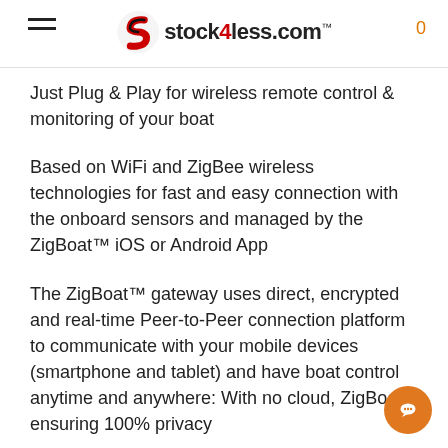stock4less.com
Just Plug & Play for wireless remote control & monitoring of your boat
Based on WiFi and ZigBee wireless technologies for fast and easy connection with the onboard sensors and managed by the ZigBoat™ iOS or Android App
The ZigBoat™ gateway uses direct, encrypted and real-time Peer-to-Peer connection platform to communicate with your mobile devices (smartphone and tablet) and have boat control anytime and anywhere: With no cloud, ZigBoat ensuring 100% privacy
ZigBoat™ offers several sensors and features to meet your specific needs, quickly and easily manage and configure via the App. The system can be integrated and expanded with unlimited additional sensors